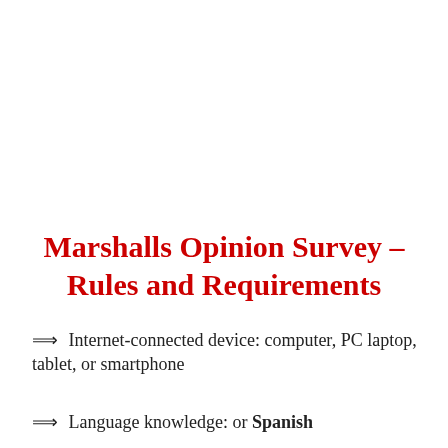Marshalls Opinion Survey – Rules and Requirements
⟹ Internet-connected device: computer, PC laptop, tablet, or smartphone
⟹ Language knowledge: or Spanish